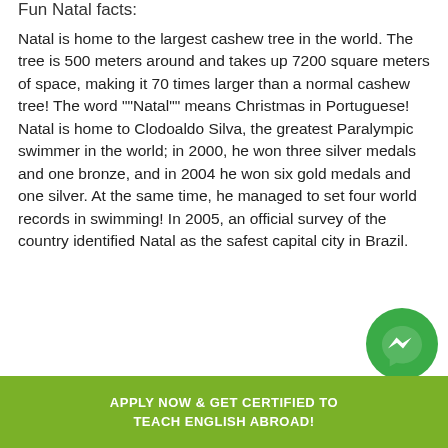Fun Natal facts:
Natal is home to the largest cashew tree in the world. The tree is 500 meters around and takes up 7200 square meters of space, making it 70 times larger than a normal cashew tree! The word ""Natal"" means Christmas in Portuguese! Natal is home to Clodoaldo Silva, the greatest Paralympic swimmer in the world; in 2000, he won three silver medals and one bronze, and in 2004 he won six gold medals and one silver. At the same time, he managed to set four world records in swimming! In 2005, an official survey of the country identified Natal as the safest capital city in Brazil.
[Figure (logo): Facebook Messenger icon — green circle with white lightning bolt/chat symbol]
APPLY NOW & GET CERTIFIED TO TEACH ENGLISH ABROAD!